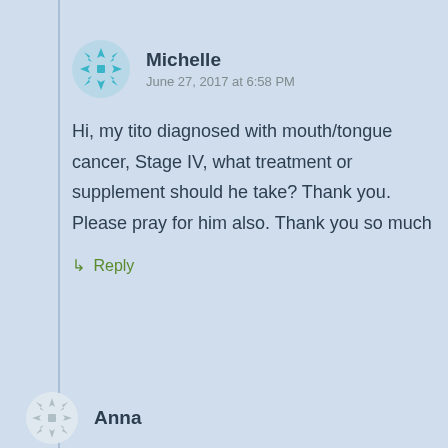[Figure (illustration): Teal/blue snowflake-style avatar icon for user Michelle]
Michelle
June 27, 2017 at 6:58 PM
Hi, my tito diagnosed with mouth/tongue cancer, Stage IV, what treatment or supplement should he take? Thank you. Please pray for him also. Thank you so much
↳ Reply
[Figure (illustration): Gray/white snowflake-style avatar icon for user Anna]
Anna